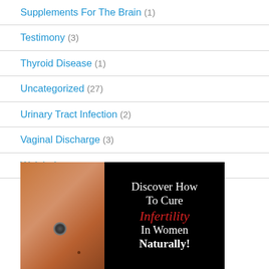Supplements For The Brain (1)
Testimony (3)
Thyroid Disease (1)
Uncategorized (27)
Urinary Tract Infection (2)
Vaginal Discharge (3)
Weight Loss (17)
Wellness Tips (15)
[Figure (illustration): Advertisement banner: Dark background with a woman's torso on the left side, and text on the right reading 'Discover How To Cure Infertility In Women Naturally!']